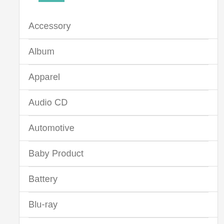Accessory
Album
Apparel
Audio CD
Automotive
Baby Product
Battery
Blu-ray
Board book